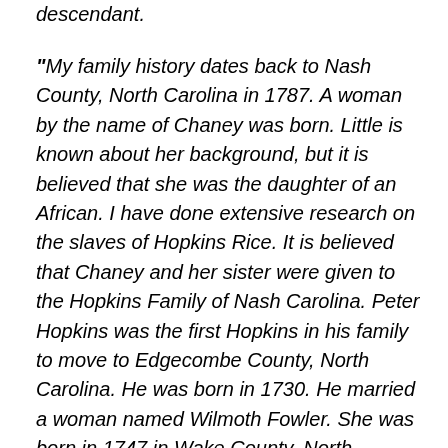descendant.
“My family history dates back to Nash County, North Carolina in 1787. A woman by the name of Chaney was born. Little is known about her background, but it is believed that she was the daughter of an African. I have done extensive research on the slaves of Hopkins Rice. It is believed that Chaney and her sister were given to the Hopkins Family of Nash Carolina. Peter Hopkins was the first Hopkins in his family to move to Edgecombe County, North Carolina. He was born in 1730. He married a woman named Wilmoth Fowler. She was born in 1747 in Wake County, North Carolina. She was the daughter of Joseph F. & Anne Fowler. The couple had known children: William Hopkins, John Hopkins, David Hopkins, Elizabeth Hopkins-Rice, and Susannah Hopkins-Russell. The Hopkins oldest daughter, Elizabeth, married